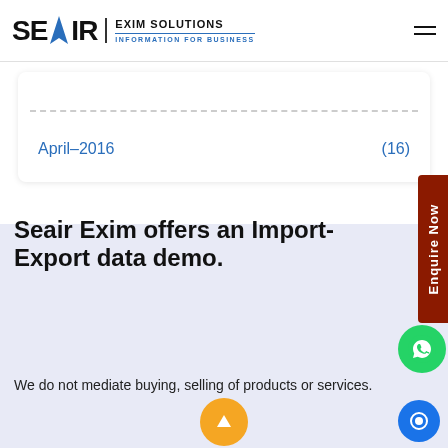SEAIR EXIM SOLUTIONS INFORMATION FOR BUSINESS
April-2016 (16)
Seair Exim offers an Import-Export data demo.
We do not mediate buying, selling of products or services.